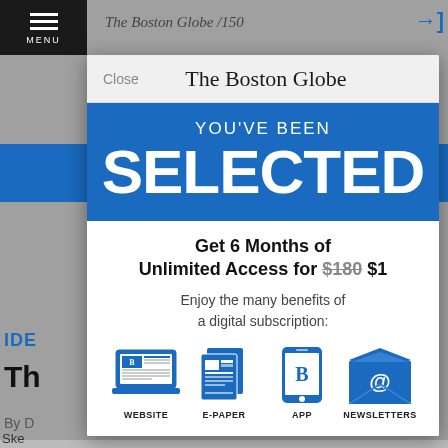The Boston Globe
YOU'VE BEEN SELECTED
Get 6 Months of Unlimited Access for $180 $1
Enjoy the many benefits of a digital subscription:
[Figure (infographic): Four blue icons representing subscription benefits: WEBSITE (laptop with Boston Globe logo), E-PAPER (newspaper), APP (smartphone with B logo), NEWSLETTERS (envelope with @ symbol)]